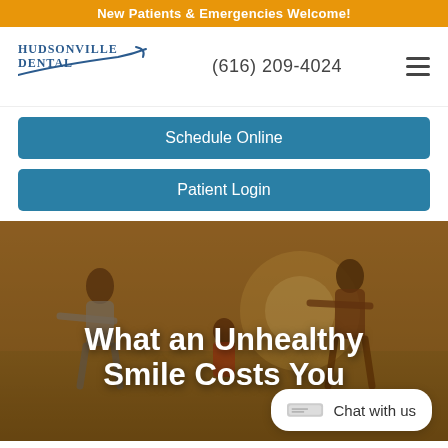New Patients & Emergencies Welcome!
[Figure (logo): Hudsonville Dental logo with swoosh and text]
(616) 209-4024
Schedule Online
Patient Login
[Figure (photo): Happy family of four running in a field with arms outstretched, warm golden light]
What an Unhealthy Smile Costs You
Chat with us